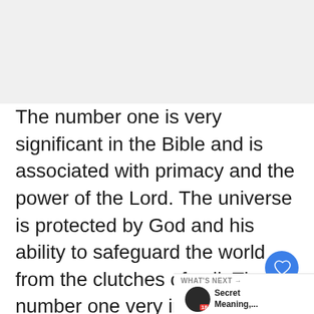The number one is very significant in the Bible and is associated with primacy and the power of the Lord. The universe is protected by God and his ability to safeguard the world from the clutches of evil. The number one very important in describing the merciful nature of God. He for one who seeks pardon from the Lord.